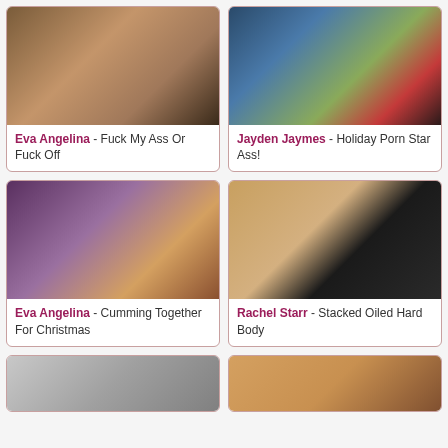[Figure (photo): Adult content thumbnail - Eva Angelina]
Eva Angelina - Fuck My Ass Or Fuck Off
[Figure (photo): Adult content thumbnail - Jayden Jaymes holiday themed]
Jayden Jaymes - Holiday Porn Star Ass!
[Figure (photo): Adult content thumbnail - Eva Angelina group scene]
Eva Angelina - Cumming Together For Christmas
[Figure (photo): Adult content thumbnail - Rachel Starr]
Rachel Starr - Stacked Oiled Hard Body
[Figure (photo): Adult content thumbnail - partial view bottom left]
[Figure (photo): Adult content thumbnail - partial view bottom right]